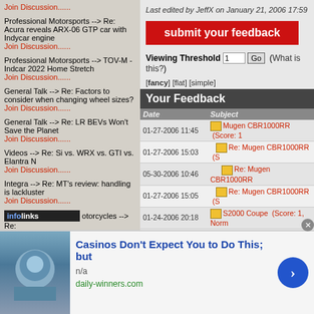Join Discussion......
Professional Motorsports --> Re: Acura reveals ARX-06 GTP car with Indycar engine
Join Discussion......
Professional Motorsports --> TOV-M - Indcar 2022 Home Stretch
Join Discussion......
General Talk --> Re: Factors to consider when changing wheel sizes?
Join Discussion......
General Talk --> Re: LR BEVs Won't Save the Planet
Join Discussion......
Videos --> Re: Si vs. WRX vs. GTI vs. Elantra N
Join Discussion......
Integra --> Re: MT's review: handling is lackluster
Join Discussion......
Motorcycles --> Re: ...age. Honda CRX
Last edited by JeffX on January 21, 2006 17:59
submit your feedback
Viewing Threshold 1 Go (What is this?)
[fancy] [flat] [simple]
Your Feedback
| Date | Subject |
| --- | --- |
| 01-27-2006 11:45 | Mugen CBR1000RR  (Score: 1 |
| 01-27-2006 15:03 | Re: Mugen CBR1000RR  (S |
| 05-30-2006 10:46 | Re: Mugen CBR1000RR |
| 01-27-2006 15:05 | Re: Mugen CBR1000RR  (S |
| 01-24-2006 20:18 | S2000 Coupe  (Score: 1, Norm |
| 01-24-2006 07:13 | I went to the autosalon too!!  (S |
| 01-31-2006 21:53 | Rims on the Amuse S200 (S |
[Figure (screenshot): Infolinks advertisement bar at bottom left]
infolinks
[Figure (infographic): Advertisement: Casinos Don't Expect You to Do This; but — n/a — daily-winners.com]